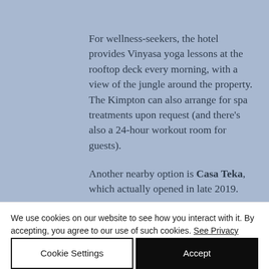For wellness-seekers, the hotel provides Vinyasa yoga lessons at the rooftop deck every morning, with a view of the jungle around the property. The Kimpton can also arrange for spa treatments upon request (and there's also a 24-hour workout room for guests).

Another nearby option is Casa Teka, which actually opened in late 2019.
We use cookies on our website to see how you interact with it. By accepting, you agree to our use of such cookies. See Privacy Policy
Cookie Settings
Accept